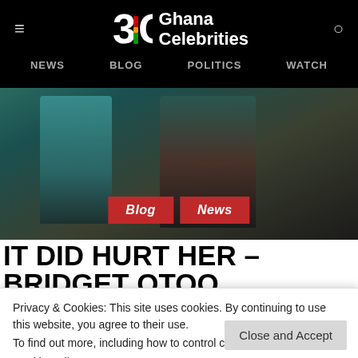Ghana Celebrities — NEWS | BLOG | POLITICS | WATCH
[Figure (screenshot): Two people standing together, hero image for the article about Bridget Otoo and Van]
IT DID HURT HER – BRIDGET OTOO REVEALS HOW VAN'S FAILURE TO RETURN HER KISS MADE HER FEEL
Privacy & Cookies: This site uses cookies. By continuing to use this website, you agree to their use.
To find out more, including how to control cookies, see here:
Cookie Policy
Close and Accept